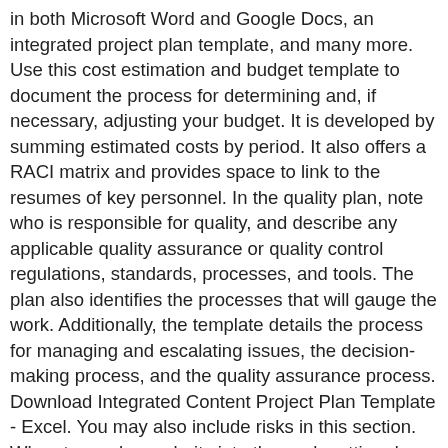in both Microsoft Word and Google Docs, an integrated project plan template, and many more. Use this cost estimation and budget template to document the process for determining and, if necessary, adjusting your budget. It is developed by summing estimated costs by period. It also offers a RACI matrix and provides space to link to the resumes of key personnel. In the quality plan, note who is responsible for quality, and describe any applicable quality assurance or quality control regulations, standards, processes, and tools. The plan also identifies the processes that will gauge the work. Additionally, the template details the process for managing and escalating issues, the decision-making process, and the quality assurance process. Download Integrated Content Project Plan Template - Excel. You may also include risks in this section. When teams have clarity into the work getting done, there's no telling how much more they can accomplish in the same amount of time. Try Smartsheet for free, today. Configuration baselines in Configuration Manager can contain specific revisions of configuration items or can be configured to always use the latest version of a configuration item. This step is typically